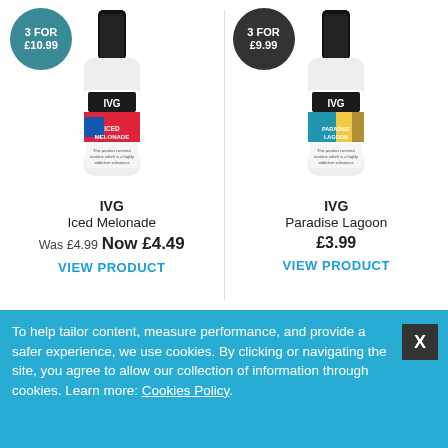[Figure (photo): IVG Salt Iced Melonade e-liquid bottle with teal badge '3 FOR £10.99']
IVG
Iced Melonade
Was £4.99 Now £4.49
VIEW PRODUCT
[Figure (photo): IVG Paradise Lagoon e-liquid bottle with dark badge '3 FOR £9.99']
IVG
Paradise Lagoon
£3.99
VIEW PRODUCT
To help tailor content, measure performance, and provide a safer experience, we use cookies. By clicking or navigating the site, you agree to allow our collection of information through cookies. Learn more: Cookies Policy.